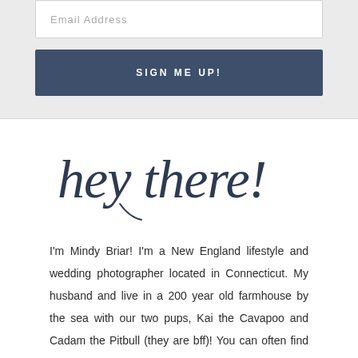Email Address
SIGN ME UP!
[Figure (illustration): Handwritten script text reading 'hey there!' in cursive dark navy/blue ink]
I'm Mindy Briar! I'm a New England lifestyle and wedding photographer located in Connecticut. My husband and live in a 200 year old farmhouse by the sea with our two pups, Kai the Cavapoo and Cadam the Pitbull (they are bff)! You can often find us traveling around New England (exploring small towns, loving on historic inns, visting